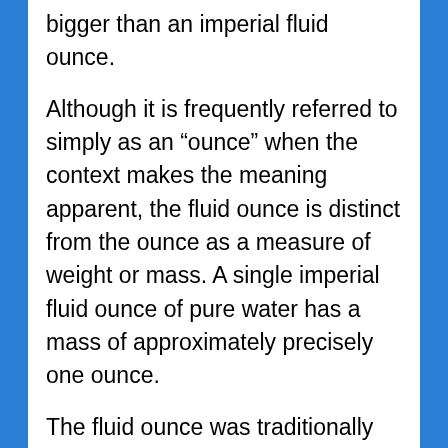bigger than an imperial fluid ounce.
Although it is frequently referred to simply as an “Ounce” when the context makes the meaning apparent, the fluid ounce is distinct from the ounce as a measure of weight or mass. A single imperial fluid ounce of pure water has a mass of approximately precisely one ounce.
The fluid ounce was traditionally defined as the volume occupied by one ounce of a substance, such as wine (in England) or water (in the United States) (in Scotland). The ounce in question also differed